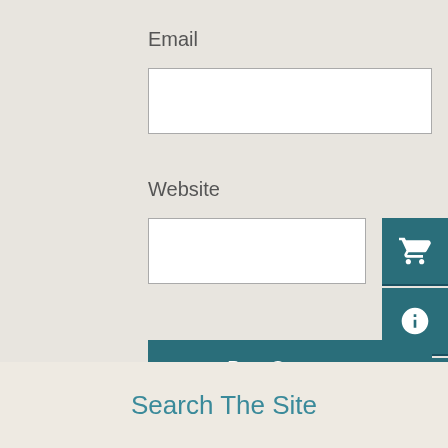Email
[Figure (screenshot): Empty white text input field for Email]
Website
[Figure (screenshot): Empty white text input field for Website]
[Figure (screenshot): Post Comment button (teal background, white text)]
Current ye@r *
[Figure (screenshot): Text input field pre-filled with 7.3.1]
[Figure (screenshot): Sidebar icons: shopping cart, info, send/arrow]
Search The Site